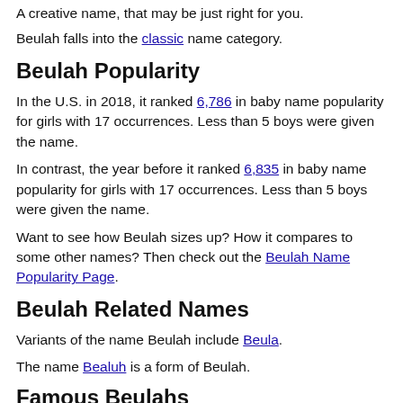A creative name, that may be just right for you.
Beulah falls into the classic name category.
Beulah Popularity
In the U.S. in 2018, it ranked 6,786 in baby name popularity for girls with 17 occurrences. Less than 5 boys were given the name.
In contrast, the year before it ranked 6,835 in baby name popularity for girls with 17 occurrences. Less than 5 boys were given the name.
Want to see how Beulah sizes up? How it compares to some other names? Then check out the Beulah Name Popularity Page.
Beulah Related Names
Variants of the name Beulah include Beula.
The name Bealuh is a form of Beulah.
Famous Beulahs